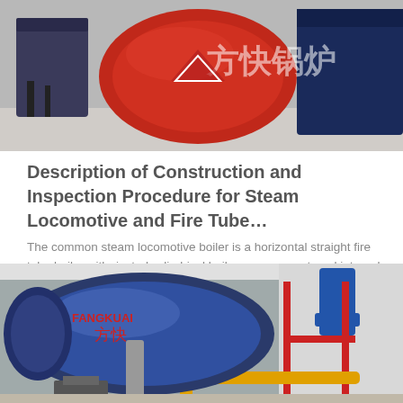[Figure (photo): Industrial boiler room with red and blue cylindrical boilers, Chinese text watermark reading 方快锅炉]
Description of Construction and Inspection Procedure for Steam Locomotive and Fire Tube…
The common steam locomotive boiler is a horizontal straight fire tube boiler with riveted cylindrical boiler courses, a stayed internal firebox at the rear, and a smokebox at the front. Operating pressure ranges up to 300 psi. The boiler shell is made up of…
Get Price
[Figure (photo): Industrial boiler facility showing blue cylindrical boiler with Chinese branding 方快, red piping, yellow gas pipes, and blue ducts in a modern facility]